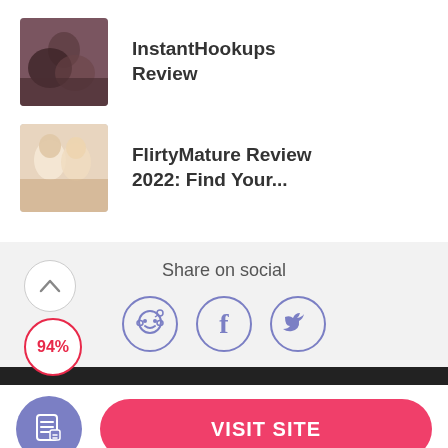[Figure (photo): Couple embracing, dark tones]
InstantHookups Review
[Figure (photo): Two women smiling together, warm tones]
FlirtyMature Review 2022: Find Your...
Share on social
[Figure (other): Social share icons: Reddit, Facebook, Twitter circles]
94%
VISIT SITE